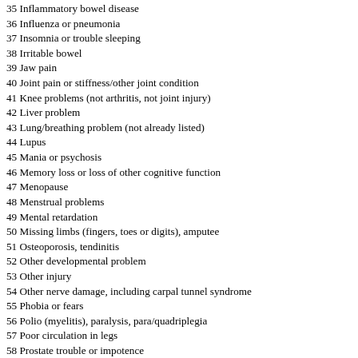35 Inflammatory bowel disease
36 Influenza or pneumonia
37 Insomnia or trouble sleeping
38 Irritable bowel
39 Jaw pain
40 Joint pain or stiffness/other joint condition
41 Knee problems (not arthritis, not joint injury)
42 Liver problem
43 Lung/breathing problem (not already listed)
44 Lupus
45 Mania or psychosis
46 Memory loss or loss of other cognitive function
47 Menopause
48 Menstrual problems
49 Mental retardation
50 Missing limbs (fingers, toes or digits), amputee
51 Osteoporosis, tendinitis
52 Other developmental problem
53 Other injury
54 Other nerve damage, including carpal tunnel syndrome
55 Phobia or fears
56 Polio (myelitis), paralysis, para/quadriplegia
57 Poor circulation in legs
58 Prostate trouble or impotence
59 Regular headaches
60 Rheumatoid arthritis